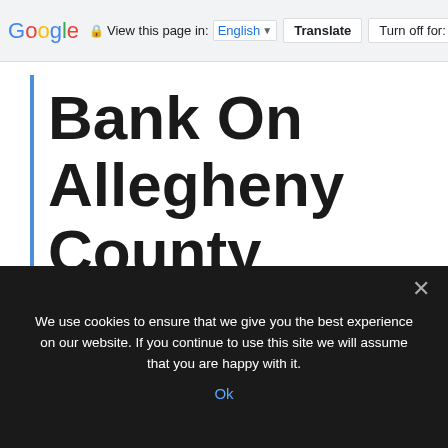Google  View this page in: English  Translate  Turn off for: P
Bank On Allegheny County works to connect everyone to safe, affordable, and appropriate financial products
We use cookies to ensure that we give you the best experience on our website. If you continue to use this site we will assume that you are happy with it.
Ok